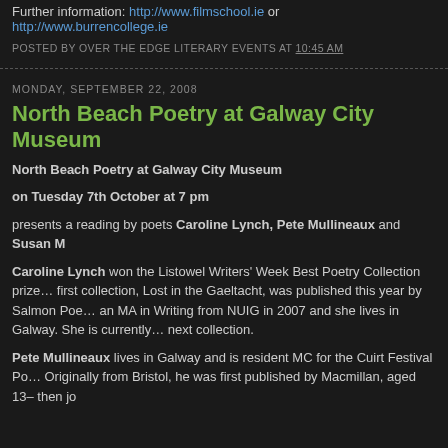Further information: http://www.filmschool.ie or http://www.burrencollege.ie
POSTED BY OVER THE EDGE LITERARY EVENTS AT 10:45 AM
MONDAY, SEPTEMBER 22, 2008
North Beach Poetry at Galway City Museum
North Beach Poetry at Galway City Museum
on Tuesday 7th October at 7 pm
presents a reading by poets Caroline Lynch, Pete Mullineaux and Susan M
Caroline Lynch won the Listowel Writers' Week Best Poetry Collection prize... first collection, Lost in the Gaeltacht, was published this year by Salmon Poe... an MA in Writing from NUIG in 2007 and she lives in Galway. She is currently... next collection.
Pete Mullineaux lives in Galway and is resident MC for the Cuirt Festival Po... Originally from Bristol, he was first published by Macmillan, aged 13– then jo